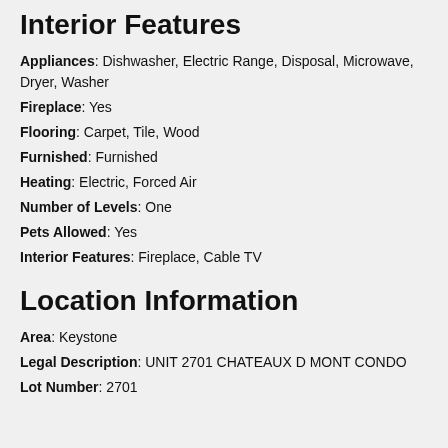Interior Features
Appliances: Dishwasher, Electric Range, Disposal, Microwave, Dryer, Washer
Fireplace: Yes
Flooring: Carpet, Tile, Wood
Furnished: Furnished
Heating: Electric, Forced Air
Number of Levels: One
Pets Allowed: Yes
Interior Features: Fireplace, Cable TV
Location Information
Area: Keystone
Legal Description: UNIT 2701 CHATEAUX D MONT CONDO
Lot Number: 2701